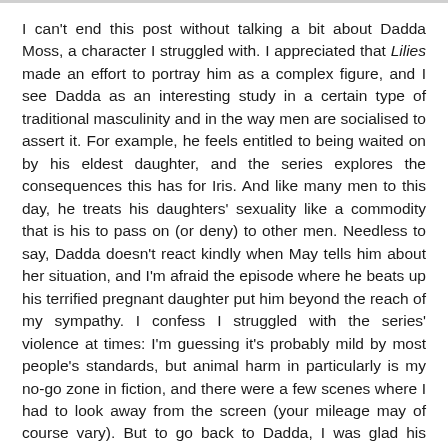I can't end this post without talking a bit about Dadda Moss, a character I struggled with. I appreciated that Lilies made an effort to portray him as a complex figure, and I see Dadda as an interesting study in a certain type of traditional masculinity and in the way men are socialised to assert it. For example, he feels entitled to being waited on by his eldest daughter, and the series explores the consequences this has for Iris. And like many men to this day, he treats his daughters' sexuality like a commodity that is his to pass on (or deny) to other men. Needless to say, Dadda doesn't react kindly when May tells him about her situation, and I'm afraid the episode where he beats up his terrified pregnant daughter put him beyond the reach of my sympathy. I confess I struggled with the series' violence at times: I'm guessing it's probably mild by most people's standards, but animal harm in particularly is my no-go zone in fiction, and there were a few scenes where I had to look away from the screen (your mileage may of course vary). But to go back to Dadda, I was glad his wasn't the only kind of working-class masculinity the series portrayed. There's also kind, gentle Frank, who thankfully doesn't end up becoming a Nice Guy; there's